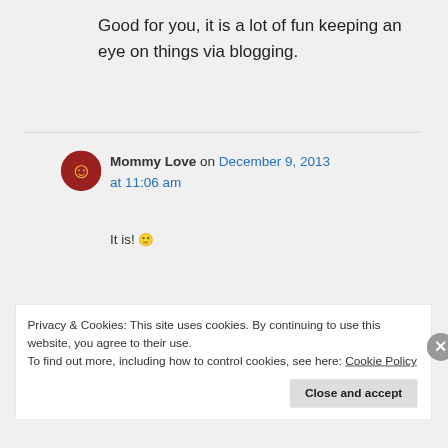Good for you, it is a lot of fun keeping an eye on things via blogging.
Mommy Love on December 9, 2013 at 11:06 am
It is! 🙂
Privacy & Cookies: This site uses cookies. By continuing to use this website, you agree to their use.
To find out more, including how to control cookies, see here: Cookie Policy
Close and accept